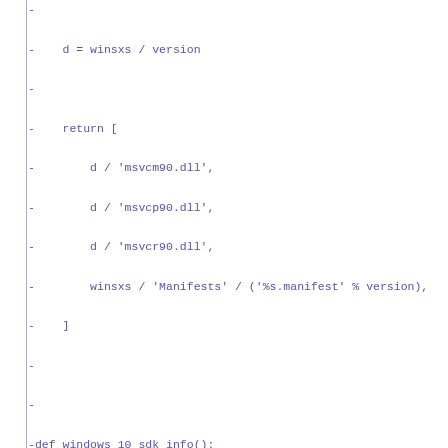-
-    d = winsxs / version
-
-    return [
-        d / 'msvcm90.dll',
-        d / 'msvcp90.dll',
-        d / 'msvcr90.dll',
-        winsxs / 'Manifests' / ('%s.manifest' % version),
-    ]
-
-
-def windows_10_sdk_info():
-    """Resolves information about the Windows 10 SDK."""
-
-    base = pathlib.Path(os.environ['ProgramFiles(x86)']) /
-